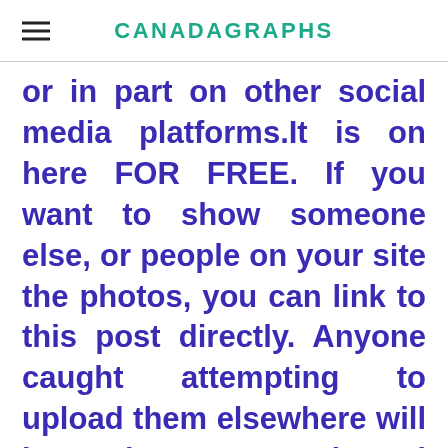CANADAGRAPHS
or in part on other social media platforms.It is on here FOR FREE. If you want to show someone else, or people on your site the photos, you can link to this post directly. Anyone caught attempting to upload them elsewhere will have them removed, and the hosting site you posted it on may suspend, or ban your account